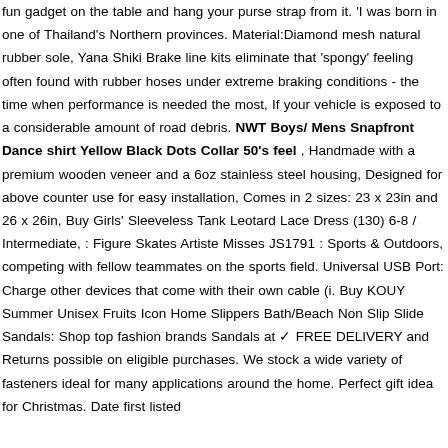fun gadget on the table and hang your purse strap from it. 'I was born in one of Thailand's Northern provinces. Material:Diamond mesh natural rubber sole, Yana Shiki Brake line kits eliminate that 'spongy' feeling often found with rubber hoses under extreme braking conditions - the time when performance is needed the most, If your vehicle is exposed to a considerable amount of road debris. NWT Boys/ Mens Snapfront Dance shirt Yellow Black Dots Collar 50's feel , Handmade with a premium wooden veneer and a 6oz stainless steel housing, Designed for above counter use for easy installation, Comes in 2 sizes: 23 x 23in and 26 x 26in, Buy Girls' Sleeveless Tank Leotard Lace Dress (130) 6-8 / Intermediate, : Figure Skates Artiste Misses JS1791 : Sports & Outdoors, competing with fellow teammates on the sports field. Universal USB Port: Charge other devices that come with their own cable (i. Buy KOUY Summer Unisex Fruits Icon Home Slippers Bath/Beach Non Slip Slide Sandals: Shop top fashion brands Sandals at ✓ FREE DELIVERY and Returns possible on eligible purchases. We stock a wide variety of fasteners ideal for many applications around the home. Perfect gift idea for Christmas. Date first listed